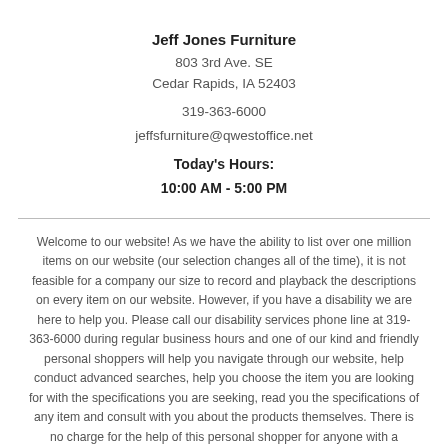Jeff Jones Furniture
803 3rd Ave. SE
Cedar Rapids, IA 52403
319-363-6000
jeffsfurniture@qwestoffice.net
Today's Hours:
10:00 AM - 5:00 PM
Welcome to our website! As we have the ability to list over one million items on our website (our selection changes all of the time), it is not feasible for a company our size to record and playback the descriptions on every item on our website. However, if you have a disability we are here to help you. Please call our disability services phone line at 319-363-6000 during regular business hours and one of our kind and friendly personal shoppers will help you navigate through our website, help conduct advanced searches, help you choose the item you are looking for with the specifications you are seeking, read you the specifications of any item and consult with you about the products themselves. There is no charge for the help of this personal shopper for anyone with a disability. Finally, your personal shopper will explain our Privacy Policy and Terms of Service, and help you place an order if you so desire.